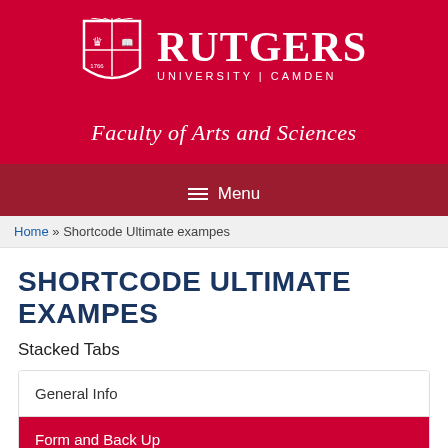[Figure (logo): Rutgers University Camden shield logo and wordmark in white on red background]
Faculty of Arts and Sciences
Menu
Home » Shortcode Ultimate exampes
SHORTCODE ULTIMATE EXAMPES
Stacked Tabs
General Info
Form and Back Up